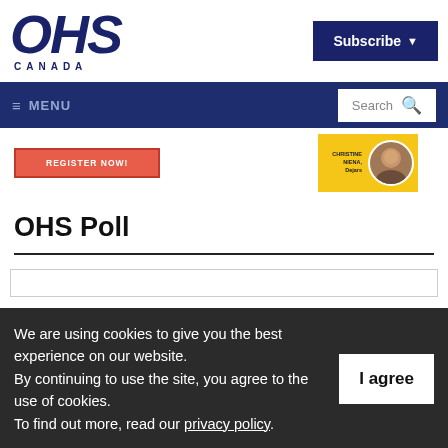[Figure (logo): OHS Canada logo - large bold italic OHS text in dark navy with CANADA spelled below in small caps]
[Figure (screenshot): Subscribe button - dark navy rectangle with white bold text 'Subscribe' and dropdown arrow]
[Figure (screenshot): Navigation bar with hamburger menu icon and MENU label on left, Search box with magnifier icon on right]
[Figure (screenshot): Banner area with red REGISTER NOW! button and yellow banner with Christine Nienä, Dejars photo]
OHS Poll
[Figure (screenshot): Partially visible poll box with border]
We are using cookies to give you the best experience on our website.
By continuing to use the site, you agree to the use of cookies.
To find out more, read our privacy policy.